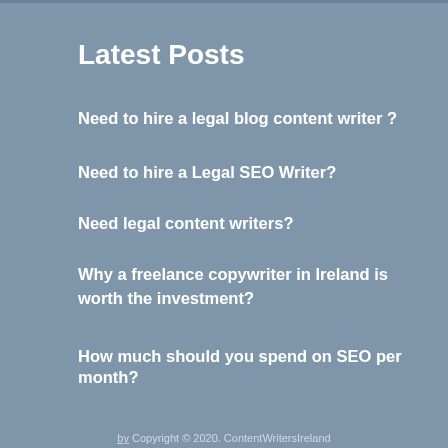Latest Posts
Need to hire a legal blog content writer ?
Need to hire a Legal SEO Writer?
Need legal content writers?
Why a freelance copywriter in Ireland is worth the investment?
How much should you spend on SEO per month?
Copyright © 2020. ContentWritersIreland